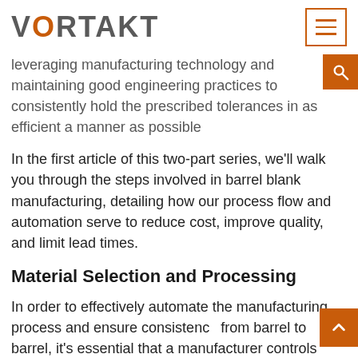VORTAKT
leveraging manufacturing technology and maintaining good engineering practices to consistently hold the prescribed tolerances in as efficient a manner as possible
In the first article of this two-part series, we'll walk you through the steps involved in barrel blank manufacturing, detailing how our process flow and automation serve to reduce cost, improve quality, and limit lead times.
Material Selection and Processing
In order to effectively automate the manufacturing process and ensure consistency from barrel to barrel, it's essential that a manufacturer controls variables by selecting